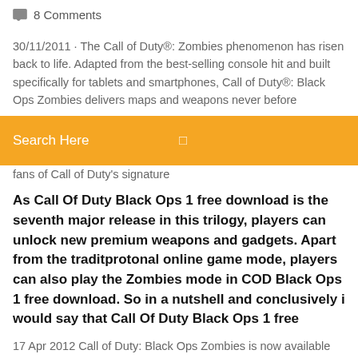💬 8 Comments
30/11/2011 · The Call of Duty®: Zombies phenomenon has risen back to life. Adapted from the best-selling console hit and built specifically for tablets and smartphones, Call of Duty®: Black Ops Zombies delivers maps and weapons never before
Search Here
fans of Call of Duty's signature
As Call Of Duty Black Ops 1 free download is the seventh major release in this trilogy, players can unlock new premium weapons and gadgets. Apart from the traditprotonal online game mode, players can also play the Zombies mode in COD Black Ops 1 free download. So in a nutshell and conclusively i would say that Call Of Duty Black Ops 1 free
17 Apr 2012 Call of Duty: Black Ops Zombies is now available for the iPhone, iPad and iPod Touch! Experience Zombies on the go